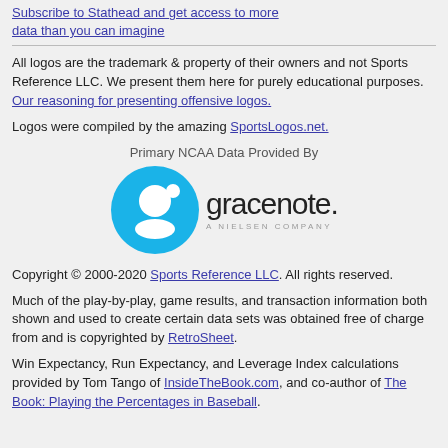Subscribe to Stathead and get access to more data than you can imagine
All logos are the trademark & property of their owners and not Sports Reference LLC. We present them here for purely educational purposes. Our reasoning for presenting offensive logos.
Logos were compiled by the amazing SportsLogos.net.
Primary NCAA Data Provided By
[Figure (logo): Gracenote - A Nielsen Company logo with blue circle icon containing a stylized 'g']
Copyright © 2000-2020 Sports Reference LLC. All rights reserved.
Much of the play-by-play, game results, and transaction information both shown and used to create certain data sets was obtained free of charge from and is copyrighted by RetroSheet.
Win Expectancy, Run Expectancy, and Leverage Index calculations provided by Tom Tango of InsideTheBook.com, and co-author of The Book: Playing the Percentages in Baseball.